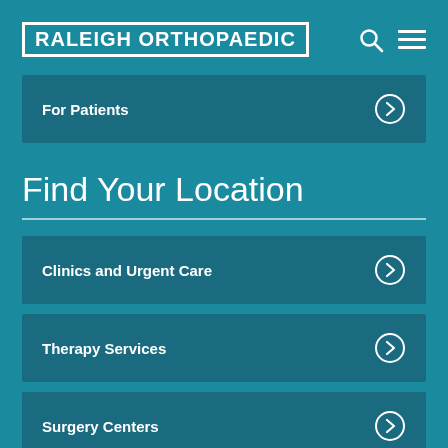RALEIGH ORTHOPAEDIC
For Patients
Find Your Location
Clinics and Urgent Care
Therapy Services
Surgery Centers